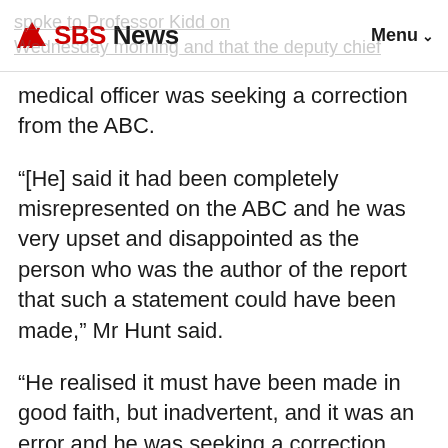SBS News  Menu
spoke to Professor Kidd on Wednesday morning and that the deputy chief medical officer was seeking a correction from the ABC.
“[He] said it had been completely misrepresented on the ABC and he was very upset and disappointed as the person who was the author of the report that such a statement could have been made,” Mr Hunt said.
“He realised it must have been made in good faith, but inadvertent, and it was an error and he was seeking a correction from the ABC.”
SBS News has contacted Professor Kidd for